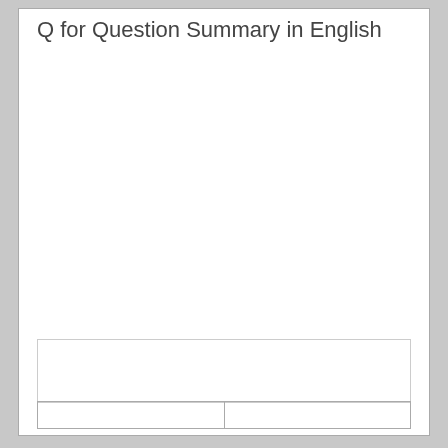Q for Question Summary in English
|  |  |
| --- | --- |
|  |  |